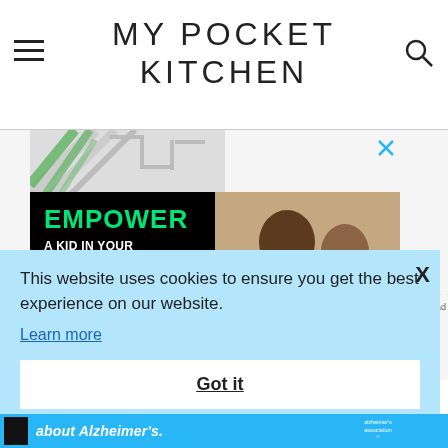MY POCKET KITCHEN
[Figure (screenshot): Advertisement banner with black background on left side showing 'EMPOWER A KID IN YOUR COMMUNITY TODAY.' in green and white text with a green button, and a photo on the right side showing an adult and child looking at something together. A close X button appears at top right of the ad.]
This website uses cookies to ensure you get the best experience on our website.
Learn more
Got it
about Alzheimer's.